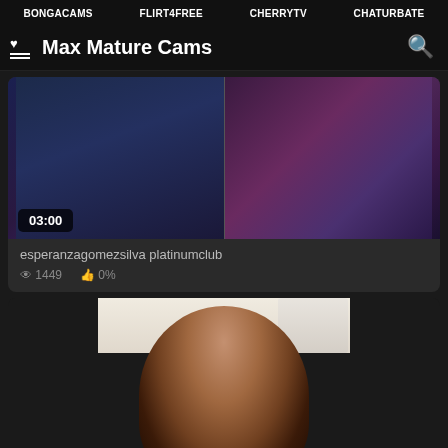BONGACAMS  FLIRT4FREE  CHERRYTV  CHATURBATE
Max Mature Cams
[Figure (screenshot): Video thumbnail showing dark scene with blue and purple tones, duration badge 03:00]
esperanzagomezsilva platinumclub
1449  0%
[Figure (photo): Photo of a woman in a bathroom setting, dark hair, dark background on sides]